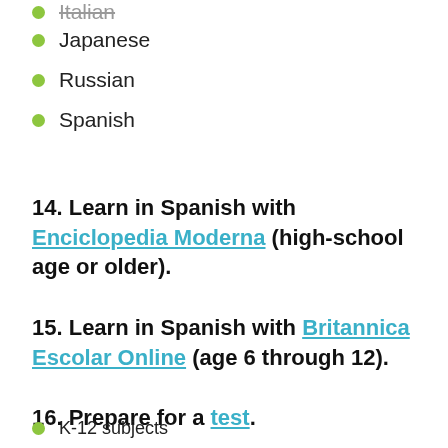Italian
Japanese
Russian
Spanish
14. Learn in Spanish with Enciclopedia Moderna (high-school age or older).
15. Learn in Spanish with Britannica Escolar Online (age 6 through 12).
16. Prepare for a test.
K-12 subjects